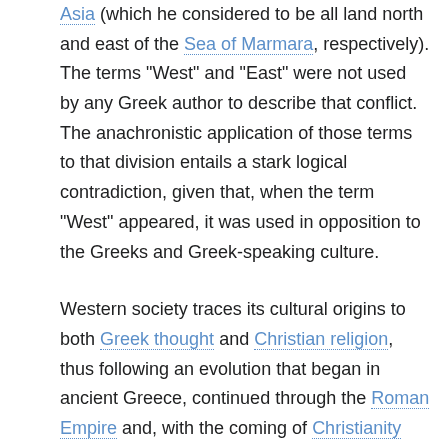Asia (which he considered to be all land north and east of the Sea of Marmara, respectively). The terms "West" and "East" were not used by any Greek author to describe that conflict. The anachronistic application of those terms to that division entails a stark logical contradiction, given that, when the term "West" appeared, it was used in opposition to the Greeks and Greek-speaking culture.
Western society traces its cultural origins to both Greek thought and Christian religion, thus following an evolution that began in ancient Greece, continued through the Roman Empire and, with the coming of Christianity (which has its origins in the Middle East), spread throughout Europe. The